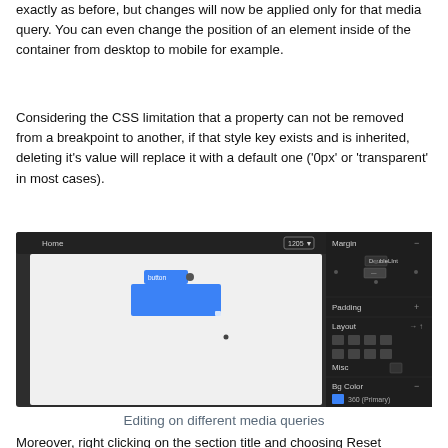exactly as before, but changes will now be applied only for that media query. You can even change the position of an element inside of the container from desktop to mobile for example.
Considering the CSS limitation that a property can not be removed from a breakpoint to another, if that style key exists and is inherited, deleting it's value will replace it with a default one ('0px' or 'transparent' in most cases).
[Figure (screenshot): Screenshot of a web editor interface showing a canvas with a blue element selected, and a right panel showing Margin, Padding, Layout, Misc, and Bg Color settings. The toolbar shows 'Home' and '1205' viewport size.]
Editing on different media queries
Moreover, right clicking on the section title and choosing Reset